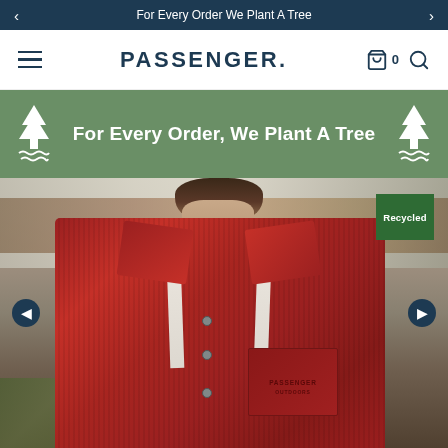For Every Order We Plant A Tree
PASSENGER.
[Figure (infographic): Green banner with two tree icons on either side and text: For Every Order, We Plant A Tree]
[Figure (photo): Man wearing a red corduroy jacket over a cream shirt, with a 'Recycled' green badge in top right corner. Passenger brand logo embroidered on chest pocket. Carousel navigation arrows visible on left and right sides.]